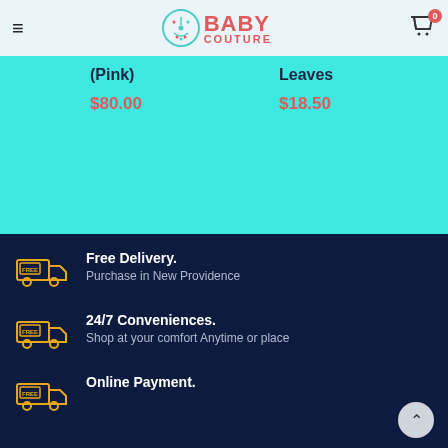Baby Couture — navigation header with hamburger menu and cart (0 items)
(Pink)
$80.00
Leaves
$18.50
Free Delivery.
Purchase in New Providence
24/7 Conveniences.
Shop at your comfort Anytime or place
Online Payment.